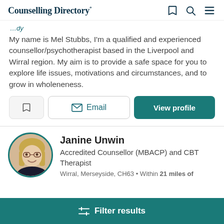Counselling Directory
My name is Mel Stubbs, I'm a qualified and experienced counsellor/psychotherapist based in the Liverpool and Wirral region. My aim is to provide a safe space for you to explore life issues, motivations and circumstances, and to grow in wholeneness.
Bookmark | Email | View profile
Janine Unwin
Accredited Counsellor (MBACP) and CBT Therapist
Wirral, Merseyside, CH63 • Within 21 miles of
Filter results